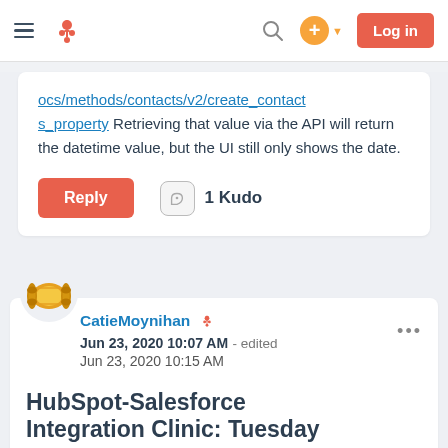HubSpot Community navigation bar with hamburger menu, HubSpot logo, search icon, plus button, and Log in button
ocs/methods/contacts/v2/create_contacts_property Retrieving that value via the API will return the datetime value, but the UI still only shows the date.
Reply   1 Kudo
[Figure (illustration): User avatar showing a golden scroll/log icon for CatieMoynihan]
CatieMoynihan
Jun 23, 2020 10:07 AM  - edited Jun 23, 2020 10:15 AM
HubSpot-Salesforce Integration Clinic: Tuesday